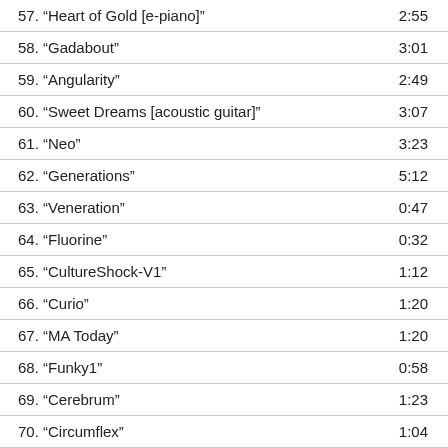| Track | Duration |
| --- | --- |
| 57. “Heart of Gold [e-piano]” | 2:55 |
| 58. “Gadabout” | 3:01 |
| 59. “Angularity” | 2:49 |
| 60. “Sweet Dreams [acoustic guitar]” | 3:07 |
| 61. “Neo” | 3:23 |
| 62. “Generations” | 5:12 |
| 63. “Veneration” | 0:47 |
| 64. “Fluorine” | 0:32 |
| 65. “CultureShock-V1” | 1:12 |
| 66. “Curio” | 1:20 |
| 67. “MA Today” | 1:20 |
| 68. “Funky1” | 0:58 |
| 69. “Cerebrum” | 1:23 |
| 70. “Circumflex” | 1:04 |
| 71. “Moirai” | 1:36 |
| 72. “Media Whore” | 1:54 |
| 73. “Argon” | 2:10 |
| 74. “Electrical” | 1:50 |
| 75. “Hyperion” | 2:33 |
| 76. “Bejabers” | 3:26 |
| 77. “Demirelief” | 3:23 |